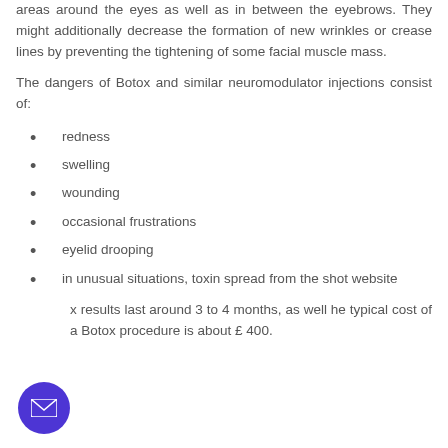areas around the eyes as well as in between the eyebrows. They might additionally decrease the formation of new wrinkles or crease lines by preventing the tightening of some facial muscle mass.
The dangers of Botox and similar neuromodulator injections consist of:
redness
swelling
wounding
occasional frustrations
eyelid drooping
in unusual situations, toxin spread from the shot website
x results last around 3 to 4 months, as well he typical cost of a Botox procedure is about £ 400.